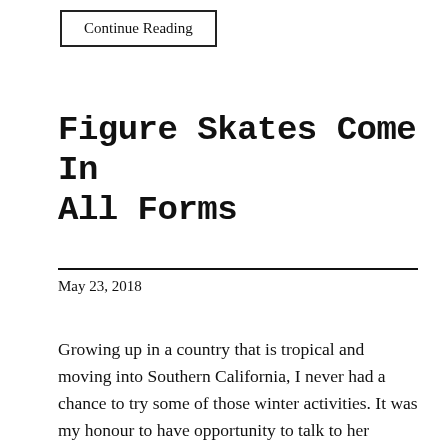Continue Reading
Figure Skates Come In All Forms
May 23, 2018
Growing up in a country that is tropical and moving into Southern California, I never had a chance to try some of those winter activities. It was my honour to have opportunity to talk to her involvement in the game now Krisztina about her career and her thoughts on the